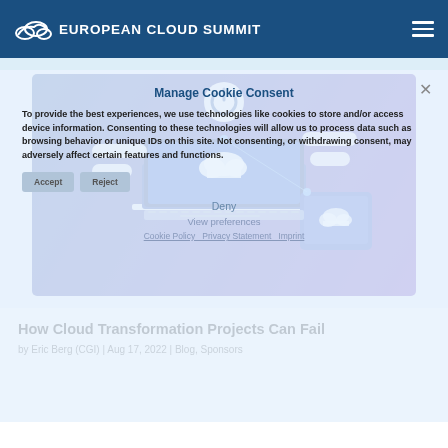EUROPEAN CLOUD SUMMIT
Manage Cookie Consent
To provide the best experiences, we use technologies like cookies to store and/or access device information. Consenting to these technologies will allow us to process data such as browsing behavior or unique IDs on this site. Not consenting, or withdrawing consent, may adversely affect certain features and functions.
[Figure (illustration): Isometric illustration of cloud computing concept: laptop with cloud and power icon, floating UI elements, tablet device, all in blue/white color scheme]
How Cloud Transformation Projects Can Fail
by Eric Berg (CGI) | Aug 17, 2022 | Blog, Sponsors
How Cloud Transformation Projects Can Fail by Eric Berg (CGI) ecs blog – Wednesday, Aug 17 2022 A press